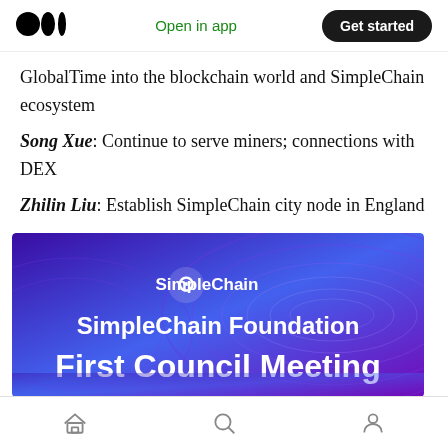Open in app | Get started
GlobalTime into the blockchain world and SimpleChain ecosystem
Song Xue: Continue to serve miners; connections with DEX
Zhilin Liu: Establish SimpleChain city node in England
[Figure (photo): SimpleChain Foundation First Council Meeting banner with purple/blue gradient background, SimpleChain logo and text]
Home | Search | Profile